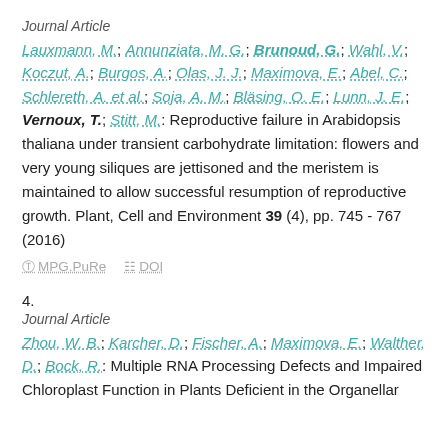Journal Article
Lauxmann, M.; Annunziata, M. G.; Brunoud, G.; Wahl, V.; Koczut, A.; Burgos, A.; Olas, J. J.; Maximova, E.; Abel, C.; Schlereth, A. et al.; Soja, A. M.; Bläsing, O. E.; Lunn, J. E.; Vernoux, T.; Stitt, M.: Reproductive failure in Arabidopsis thaliana under transient carbohydrate limitation: flowers and very young siliques are jettisoned and the meristem is maintained to allow successful resumption of reproductive growth. Plant, Cell and Environment 39 (4), pp. 745 - 767 (2016)
MPG.PuRe   DOI
4.
Journal Article
Zhou, W. B.; Karcher, D.; Fischer, A.; Maximova, E.; Walther, D.; Bock, R.: Multiple RNA Processing Defects and Impaired Chloroplast Function in Plants Deficient in the Organellar